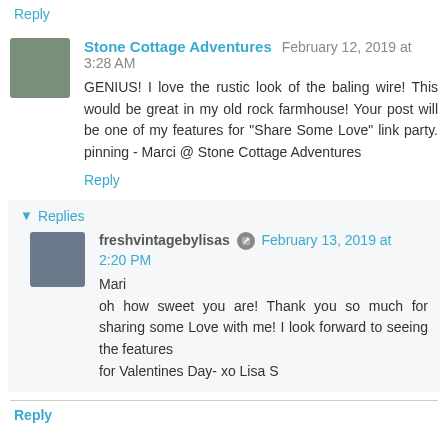Reply
Stone Cottage Adventures  February 12, 2019 at 3:28 AM
GENIUS! I love the rustic look of the baling wire! This would be great in my old rock farmhouse! Your post will be one of my features for "Share Some Love" link party. pinning - Marci @ Stone Cottage Adventures
Reply
Replies
freshvintagebylisas  February 13, 2019 at 2:20 PM
Mari
oh how sweet you are! Thank you so much for sharing some Love with me! I look forward to seeing the features
for Valentines Day- xo Lisa S
Reply